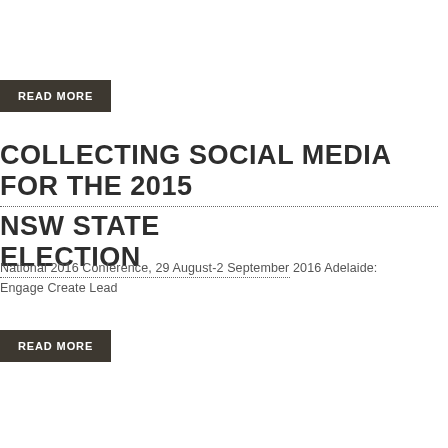READ MORE
COLLECTING SOCIAL MEDIA FOR THE 2015 NSW STATE ELECTION
National 2016 Conference, 29 August-2 September 2016 Adelaide: Engage Create Lead
READ MORE